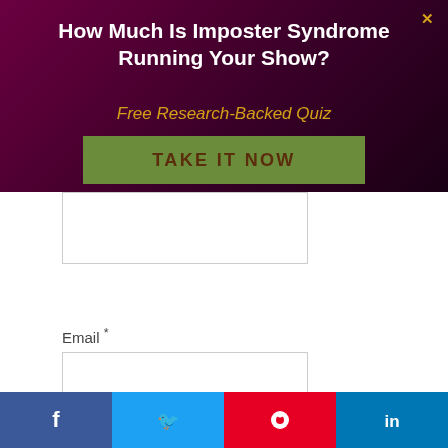How Much Is Imposter Syndrome Running Your Show?
Free Research-Backed Quiz
TAKE IT NOW
Email *
Website